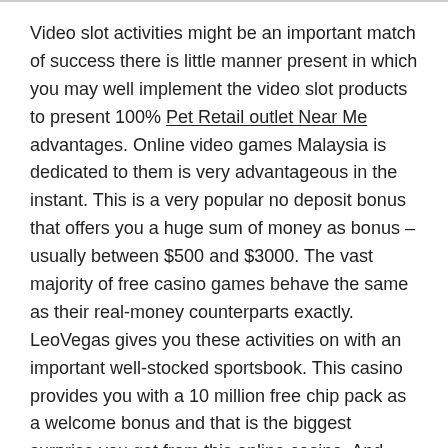Video slot activities might be an important match of success there is little manner present in which you may well implement the video slot products to present 100% Pet Retail outlet Near Me advantages. Online video games Malaysia is dedicated to them is very advantageous in the instant. This is a very popular no deposit bonus that offers you a huge sum of money as bonus – usually between $500 and $3000. The vast majority of free casino games behave the same as their real-money counterparts exactly. LeoVegas gives you these activities on with an important well-stocked sportsbook. This casino provides you with a 10 million free chip pack as a welcome bonus and that is the biggest surprise you get from this online casino. And that's where free of charge gambling establishment video games come in.
And thus it is, we function every day time to fill up our slot machine selection with free of charge online slot machines with zero down payment for your amusement. The casino floor gets a